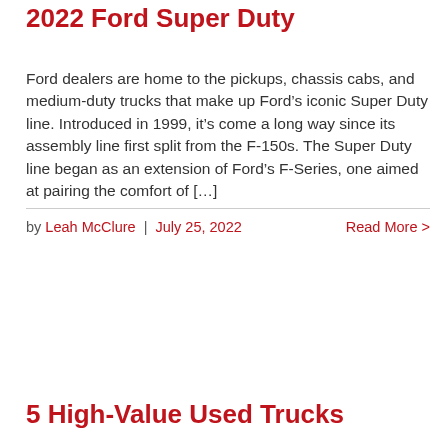2022 Ford Super Duty
Ford dealers are home to the pickups, chassis cabs, and medium-duty trucks that make up Ford’s iconic Super Duty line. Introduced in 1999, it’s come a long way since its assembly line first split from the F-150s. The Super Duty line began as an extension of Ford’s F-Series, one aimed at pairing the comfort of […]
by Leah McClure | July 25, 2022    Read More >
5 High-Value Used Trucks